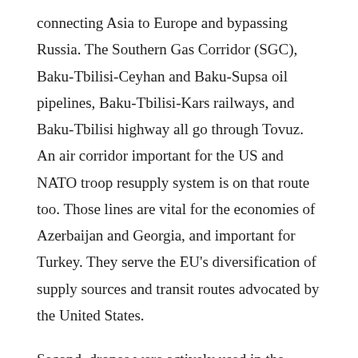connecting Asia to Europe and bypassing Russia. The Southern Gas Corridor (SGC), Baku-Tbilisi-Ceyhan and Baku-Supsa oil pipelines, Baku-Tbilisi-Kars railways, and Baku-Tbilisi highway all go through Tovuz. An air corridor important for the US and NATO troop resupply system is on that route too. Those lines are vital for the economies of Azerbaijan and Georgia, and important for Turkey. They serve the EU's diversification of supply sources and transit routes advocated by the United States.
Second, drones were actively used in the clashes. The UK's defense secretary Ben Wallace lauded the performance of Turkish drones and electronic warfare